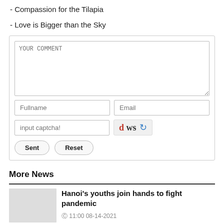- Compassion for the Tilapia
- Love is Bigger than the Sky
[Figure (screenshot): Comment submission form with a large text area labeled YOUR COMMENT, fields for Fullname and Email, a captcha input with captcha image showing 'd ws' and a refresh icon, and Sent and Reset buttons.]
More News
Hanoi's youths join hands to fight pandemic
© 11:00 08-14-2021